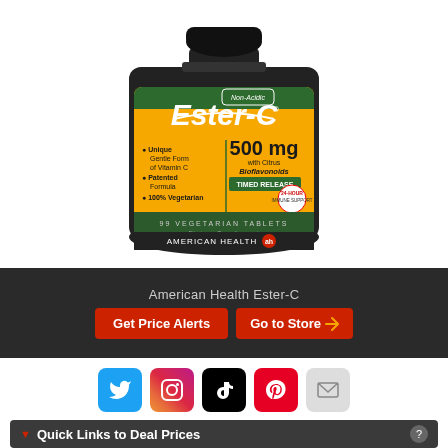[Figure (photo): Ester-C supplement bottle - American Health Ester-C 500mg with Citrus Bioflavonoids, Timed Release, 99 Vegetarian Tablets. Label shows: Non-Acidic, Unique Gentle Form of Vitamin C, Patented Formula, 100% Vegetarian, Dietary Supplement.]
American Health Ester-C
Get Price Alerts
Go to Store
[Figure (logo): Social media icons: Twitter, Instagram, TikTok, Pinterest, Email]
Quick Links to Deal Prices